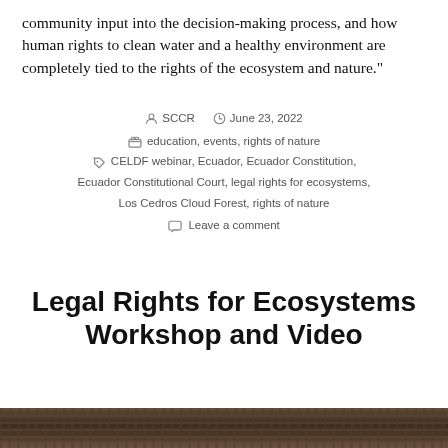community input into the decision-making process, and how human rights to clean water and a healthy environment are completely tied to the rights of the ecosystem and nature."
Post author: SCCR  Date: June 23, 2022  Categories: education, events, rights of nature  Tags: CELDF webinar, Ecuador, Ecuador Constitution, Ecuador Constitutional Court, legal rights for ecosystems, Los Cedros Cloud Forest, rights of nature  Leave a comment
Legal Rights for Ecosystems Workshop and Video
[Figure (photo): Partial view of a forest or rocky ecosystem scene, cropped at bottom of page]